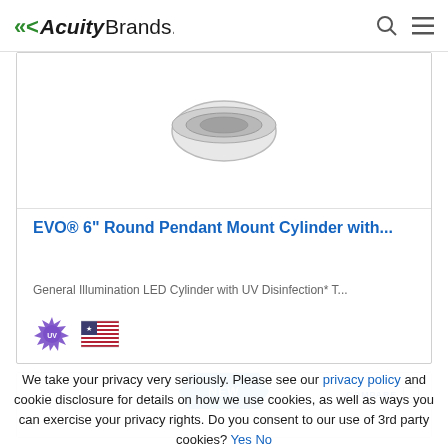AcuityBrands.
[Figure (photo): Bottom portion of a round pendant mount cylinder lighting fixture, showing its circular chrome/silver base against a white background.]
EVO® 6" Round Pendant Mount Cylinder with...
General Illumination LED Cylinder with UV Disinfection* T...
[Figure (logo): UV disinfection badge icon (purple starburst with UV text) and US flag badge icon.]
[Figure (screenshot): Partial view of a second product card showing a NEW badge in blue and a COMPARE checkbox.]
We take your privacy very seriously. Please see our privacy policy and cookie disclosure for details on how we use cookies, as well as ways you can exercise your privacy rights. Do you consent to our use of 3rd party cookies? Yes No